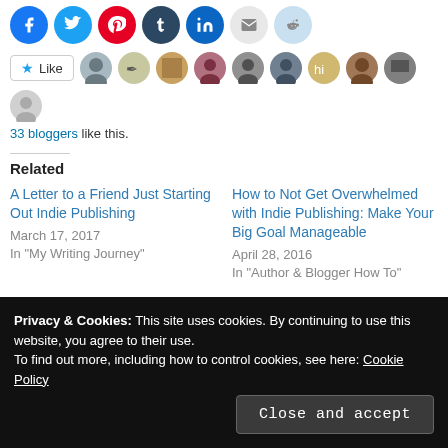[Figure (other): Row of social media share icons: Facebook (blue), Twitter (cyan), Pinterest (red), Tumblr (dark blue), LinkedIn (blue), Email (grey), Reddit (light blue)]
[Figure (other): Like button with star and row of blogger avatars]
33 bloggers like this.
Related
A Letter to a Friend Just Starting Out Indie Publishing
March 17, 2017
In "My Writing Journey"
How to Not Get Overwhelmed with Indie Publishing: Make Your Big Goal Manageable
April 28, 2016
In "Author & Blogger How To"
Privacy & Cookies: This site uses cookies. By continuing to use this website, you agree to their use.
To find out more, including how to control cookies, see here: Cookie Policy
Close and accept